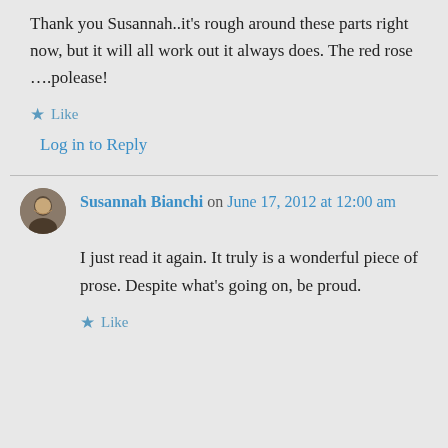Thank you Susannah..it's rough around these parts right now, but it will all work out it always does. The red rose ….polease!
★ Like
Log in to Reply
Susannah Bianchi on June 17, 2012 at 12:00 am
I just read it again. It truly is a wonderful piece of prose. Despite what's going on, be proud.
★ Like